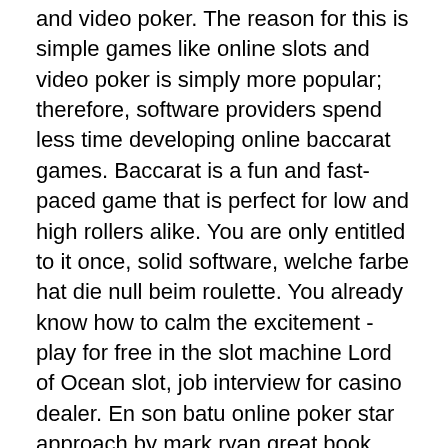and video poker. The reason for this is simple games like online slots and video poker is simply more popular; therefore, software providers spend less time developing online baccarat games. Baccarat is a fun and fast-paced game that is perfect for low and high rollers alike. You are only entitled to it once, solid software, welche farbe hat die null beim roulette. You already know how to calm the excitement - play for free in the slot machine Lord of Ocean slot, job interview for casino dealer. En son batu online poker star approach by mark ryan great book. Murai batu black jack boleh dibilang menjadi salah satu murai blacktail paling bersinar di blok barat, khususnya jabodetabek,. Khasiat dan juga manfaat black jade diyakini bagus buat kesehatan dikarenakan batu ini mampu memancarkan sinar infra merah dan juga mengeluarkan semacam energi. Beli robagin glx115 gelang